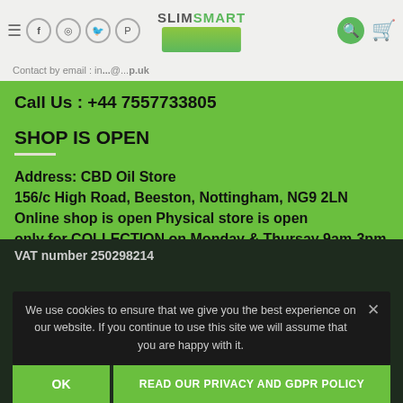SlimSmart logo with social icons, search and cart
Contact by email : in...@...p.uk
Call Us : +44 7557733805
SHOP IS OPEN
Address: CBD Oil Store
156/c High Road, Beeston, Nottingham,  NG9 2LN
Online shop is open Physical store is open
only for COLLECTION on Monday & Thursay 9am-3pm
VAT number 250298214
IMPORTANT
Privacy Policy
We use cookies to ensure that we give you the best experience on our website. If you continue to use this site we will assume that you are happy with it.